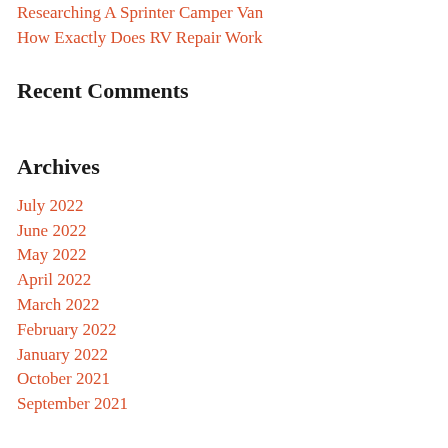Researching A Sprinter Camper Van
How Exactly Does RV Repair Work
Recent Comments
Archives
July 2022
June 2022
May 2022
April 2022
March 2022
February 2022
January 2022
October 2021
September 2021